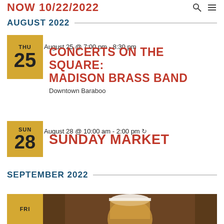NOW 10/22/2022
AUGUST 2022
August 25 @ 7:00 pm - 8:30 pm
CONCERTS ON THE SQUARE: MADISON BRASS BAND
Downtown Baraboo
August 28 @ 10:00 am - 2:00 pm
SUNDAY MARKET
SEPTEMBER 2022
[Figure (photo): Photo of a beer mug or food item, partially visible at bottom of page]